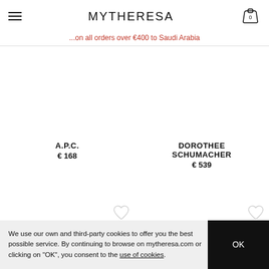MYTHERESA
...on all orders over €400 to Saudi Arabia
A.P.C.
€ 168
DOROTHEE SCHUMACHER
€ 539
We use our own and third-party cookies to offer you the best possible service. By continuing to browse on mytheresa.com or clicking on "OK", you consent to the use of cookies.